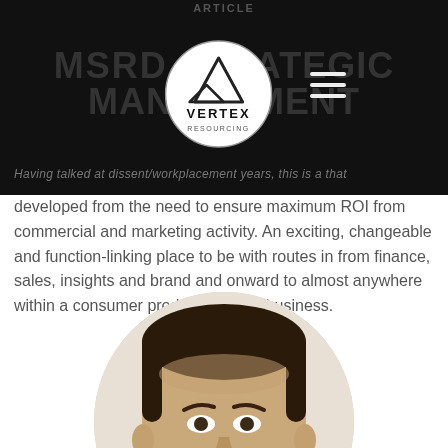ARTICLE
MSRD STRATEGIC MANAGEMENT
[Figure (logo): Vertex Resourcing circular logo with mountain graphic]
Having talked at dissent/workplacement years, this is a that developed from the need to ensure maximum ROI from commercial and marketing activity. An exciting, changeable and function-linking place to be with routes in from finance, sales, insights and brand and onward to almost anywhere within a consumer product focused business.
[Figure (photo): Circular cropped portrait photo of a man with dark short hair, smiling slightly, wearing casual attire]